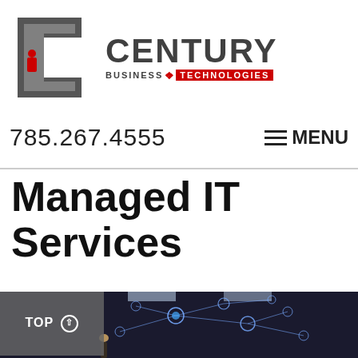[Figure (logo): Century Business Technologies logo with stylized C cube icon and company name text]
785.267.4555
≡ MENU
Managed IT Services
[Figure (photo): A person standing in a dark server room or data center with glowing network connectivity icons and lines overlaid, representing managed IT services and network connectivity. A gray badge with TOP and an arrow reads 'TOP' in the lower left.]